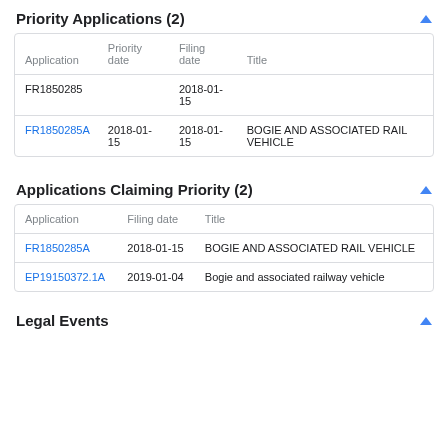Priority Applications (2)
| Application | Priority date | Filing date | Title |
| --- | --- | --- | --- |
| FR1850285 |  | 2018-01-15 |  |
| FR1850285A | 2018-01-15 | 2018-01-15 | BOGIE AND ASSOCIATED RAIL VEHICLE |
Applications Claiming Priority (2)
| Application | Filing date | Title |
| --- | --- | --- |
| FR1850285A | 2018-01-15 | BOGIE AND ASSOCIATED RAIL VEHICLE |
| EP19150372.1A | 2019-01-04 | Bogie and associated railway vehicle |
Legal Events